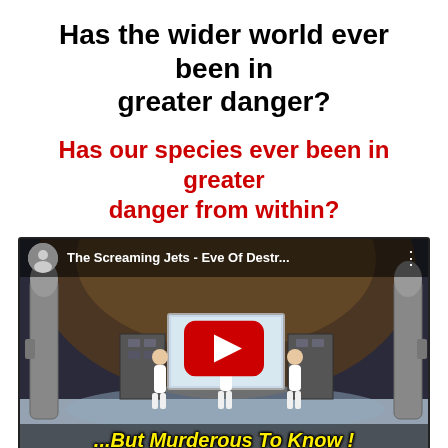Has the wider world ever been in greater danger?
Has our species ever been in greater danger from within?
[Figure (screenshot): YouTube video thumbnail showing 'The Screaming Jets - Eve Of Destr...' with a music video scene featuring women in white outfits in a missile/command center setting, with a large red YouTube play button overlay. Bottom caption reads '...But Murderous To Know!']